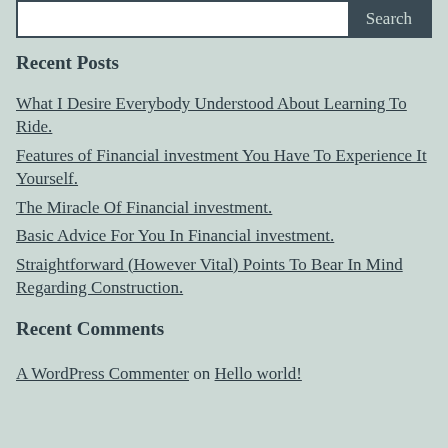Recent Posts
What I Desire Everybody Understood About Learning To Ride.
Features of Financial investment You Have To Experience It Yourself.
The Miracle Of Financial investment.
Basic Advice For You In Financial investment.
Straightforward (However Vital) Points To Bear In Mind Regarding Construction.
Recent Comments
A WordPress Commenter on Hello world!